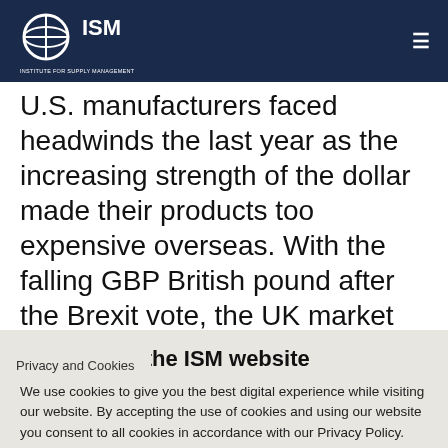ISM - Institute for Supply Management
U.S. manufacturers faced headwinds the last year as the increasing strength of the dollar made their products too expensive overseas. With the falling GBP British pound after the Brexit vote, the UK market becomes less favorable. Add to that an expected sluggish economy in the UK, and the market becomes less attractive. Granted, the UK is largest trading partner for the
Privacy and Cookies
Cookies on the ISM website
We use cookies to give you the best digital experience while visiting our website. By accepting the use of cookies and using our website you consent to all cookies in accordance with our Privacy Policy.
Privacy Policy   Contact Us
Social media icons: Twitter, Facebook, Email, WhatsApp, SMS, Other